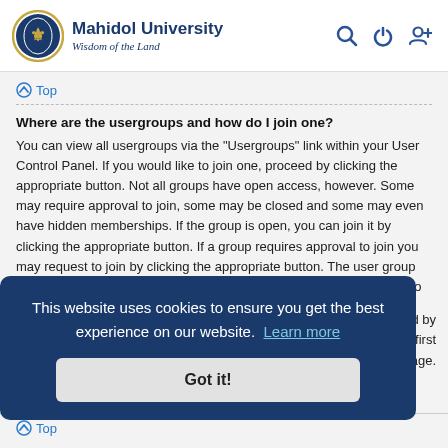Mahidol University — Wisdom of the Land
Top
Where are the usergroups and how do I join one?
You can view all usergroups via the "Usergroups" link within your User Control Panel. If you would like to join one, proceed by clicking the appropriate button. Not all groups have open access, however. Some may require approval to join, some may be closed and some may even have hidden memberships. If the group is open, you can join it by clicking the appropriate button. If a group requires approval to join you may request to join by clicking the appropriate button. The user group leader will need to approve your request and may ask why you want to join the group. Please do not harass a group leader if they reject your request; they will have their reasons.
reated by ur first sage.
Top
This website uses cookies to ensure you get the best experience on our website. Learn more
Got it!